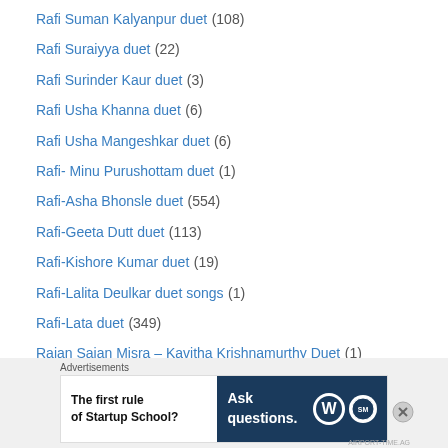Rafi Suman Kalyanpur duet (108)
Rafi Suraiyya duet (22)
Rafi Surinder Kaur duet (3)
Rafi Usha Khanna duet (6)
Rafi Usha Mangeshkar duet (6)
Rafi- Minu Purushottam duet (1)
Rafi-Asha Bhonsle duet (554)
Rafi-Geeta Dutt duet (113)
Rafi-Kishore Kumar duet (19)
Rafi-Lalita Deulkar duet songs (1)
Rafi-Lata duet (349)
Rajan Sajan Misra – Kavitha Krishnamurthy Duet (1)
Rajkumari -Rafi duet (2)
Rajkumari Asha Bhonsle duet (2)
Rajkumari Hamida Bano duet (1)
Rajkumari Lata duet (4)
[Figure (screenshot): Advertisement banner with text 'The first rule of Startup School?' on left and 'Ask questions.' with WordPress and another logo on dark blue background on right]